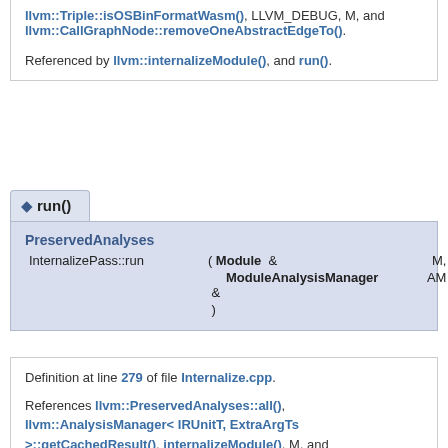llvm::Triple::isOSBinFormatWasm(), LLVM_DEBUG, M, and llvm::CallGraphNode::removeOneAbstractEdgeTo().
Referenced by llvm::internalizeModule(), and run().
◆ run()
PreservedAnalyses InternalizePass::run ( Module & M, ModuleAnalysisManager & AM )
Definition at line 279 of file Internalize.cpp.
References llvm::PreservedAnalyses::all(), llvm::AnalysisManager< IRUnitT, ExtraArgTs >::getCachedResult(), internalizeModule(), M, and llvm::PreservedAnalyses::preserve().